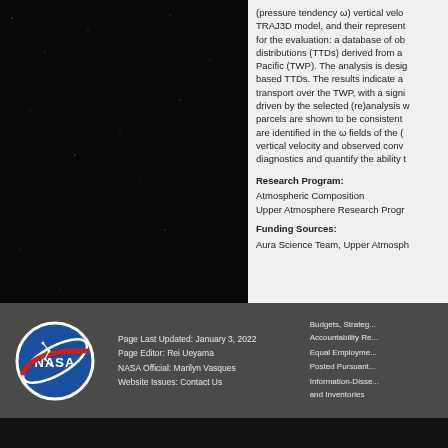(pressure tendency ω) vertical velo... TRAJ3D model, and their represent... for the evaluation: a database of ob... distributions (TTDs) derived from a... Pacific (TWP). The analysis is desig... based TTDs. The results indicate a... transport over the TWP, with a signi... driven by the selected (re)analysis w... parcels are shown to be consistent... are identified in the ω fields of the (... vertical velocity and observed conv... diagnostics and quantify the ability t...
Research Program:
Atmospheric Composition
Upper Atmosphere Research Progr...
Funding Sources:
Aura Science Team, Upper Atmosph...
Page Last Updated: January 3, 2022 | Page Editor: Rei Ueyama | NASA Official: Marilyn Vasques | Website Issues: Contact Us | Budgets, Strateg... Accountability Re... | Equal Employme... Posted Pursuant... | Information-Disse... and Inventories